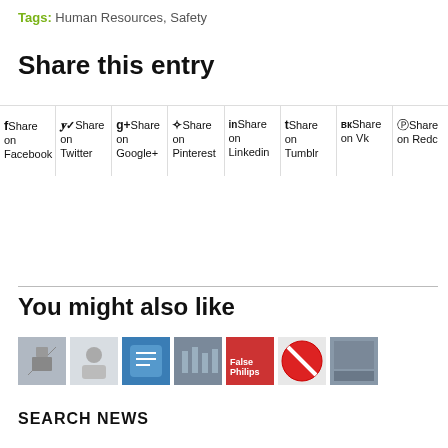Tags: Human Resources, Safety
Share this entry
Share on Facebook | Share on Twitter | Share on Google+ | Share on Pinterest | Share on Linkedin | Share on Tumblr | Share on Vk | Share on Reddit
You might also like
[Figure (photo): Row of 7 small thumbnail images for related articles]
SEARCH NEWS